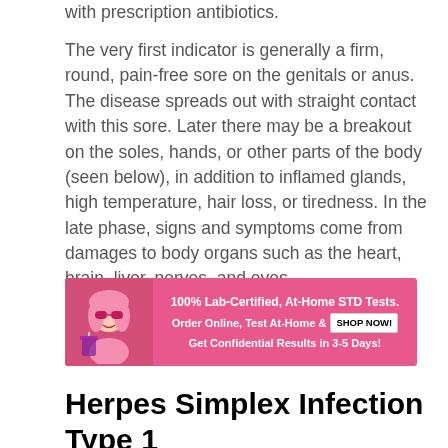with prescription antibiotics.
The very first indicator is generally a firm, round, pain-free sore on the genitals or anus. The disease spreads out with straight contact with this sore. Later there may be a breakout on the soles, hands, or other parts of the body (seen below), in addition to inflamed glands, high temperature, hair loss, or tiredness. In the late phase, signs and symptoms come from damages to body organs such as the heart, brain, liver, nerves, and eyes.
[Figure (infographic): Pink advertisement banner: 100% Lab-Certified, At-Home STD Tests. Order Online, Test At-Home & Get Confidential Results in 3-5 Days! SHOP NOW button. Cartoon illustration of a woman on left side.]
Herpes Simplex Infection Type 1